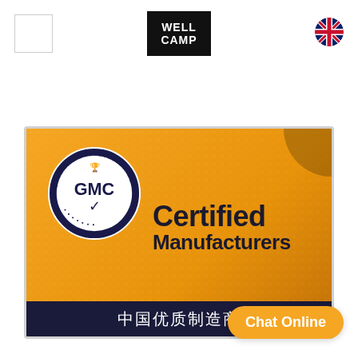[Figure (logo): Small white square placeholder logo in top left corner]
[Figure (logo): WELLCAMP logo — white text on black background, centered at top]
[Figure (logo): UK flag circle icon in top right corner]
[Figure (other): GMC Global Manufacturer Certificate badge on orange background. Circle badge on left with 'GMC' and 'Global Manufacturer Certificate' text. Right side shows 'Certified Manufacturers' in dark bold text. Bottom dark band reads '中国优质制造商'. Orange gradient background with dot pattern.]
Chat Online